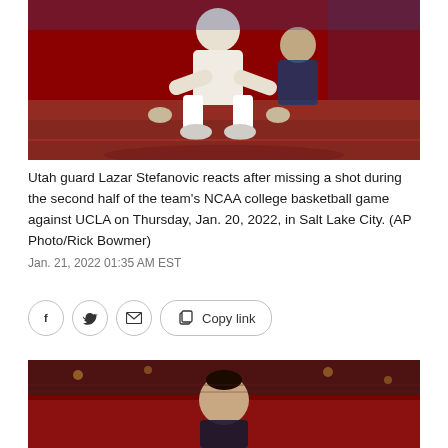[Figure (photo): Utah guard Lazar Stefanovic crouching on basketball court floor during game]
Utah guard Lazar Stefanovic reacts after missing a shot during the second half of the team's NCAA college basketball game against UCLA on Thursday, Jan. 20, 2022, in Salt Lake City. (AP Photo/Rick Bowmer)
Jan. 21, 2022 01:35 AM EST
[Figure (photo): Basketball player looking upward on court with crowd in background]